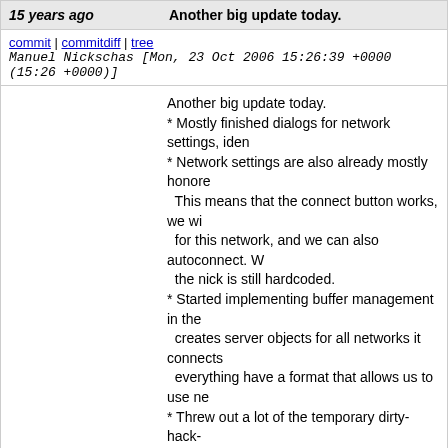15 years ago — Another big update today.
commit | commitdiff | tree   Manuel Nickschas [Mon, 23 Oct 2006 15:26:39 +0000 (15:26 +0000)]
Another big update today.
* Mostly finished dialogs for network settings, iden
* Network settings are also already mostly honore... This means that the connect button works, we wi... for this network, and we can also autoconnect. W... the nick is still hardcoded.
* Started implementing buffer management in the... creates server objects for all networks it connects... everything have a format that allows us to use ne...
* Threw out a lot of the temporary dirty-hack-stuff we used for testing so far. Most of the code we have now is actually clean and there to be added to it :)
15 years ago — More small changes, working on the dialogs right now.
commit | commitdiff | tree   Manuel Nickschas [Sat, 21 Oct 2006 15:35:54 +0000 (15:35 +0000)]
More small changes, working on the dialogs right n
15 years ago — expanding->preferred